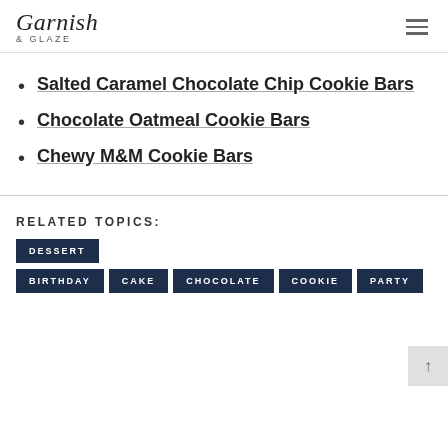Garnish & Glaze
Salted Caramel Chocolate Chip Cookie Bars
Chocolate Oatmeal Cookie Bars
Chewy M&M Cookie Bars
RELATED TOPICS:
DESSERT BIRTHDAY CAKE CHOCOLATE COOKIE PARTY